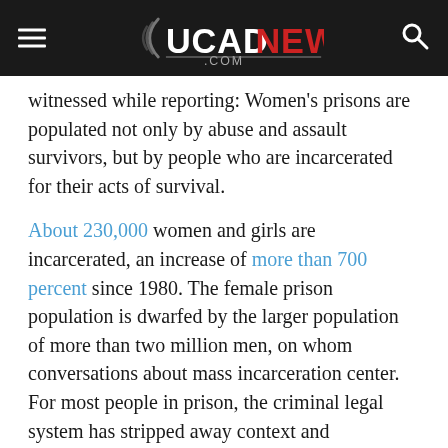UCAD NEWS .COM
witnessed while reporting: Women’s prisons are populated not only by abuse and assault survivors, but by people who are incarcerated for their acts of survival.
About 230,000 women and girls are incarcerated, an increase of more than 700 percent since 1980. The female prison population is dwarfed by the larger population of more than two million men, on whom conversations about mass incarceration center. For most people in prison, the criminal legal system has stripped away context and circumstance, leaving only a conviction on record.
Women must also navigate gendered binaries in a system designed by and for men: Offenders are violent, victims are docile; offenders kill, victims die. Female victims should fit a